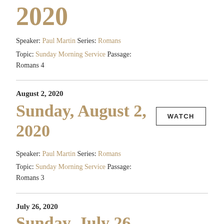2020
Speaker: Paul Martin Series: Romans
Topic: Sunday Morning Service Passage: Romans 4
August 2, 2020
Sunday, August 2, 2020
Speaker: Paul Martin Series: Romans
Topic: Sunday Morning Service Passage: Romans 3
July 26, 2020
Sunday, July 26,